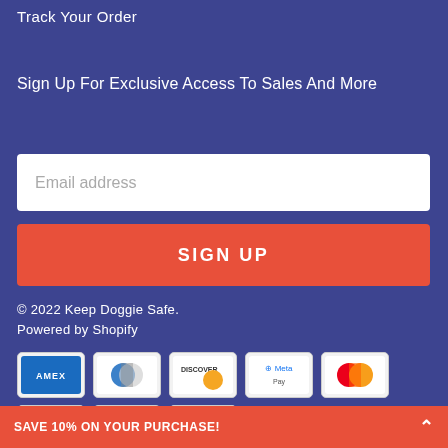Track Your Order
Sign Up For Exclusive Access To Sales And More
Email address
SIGN UP
© 2022 Keep Doggie Safe.
Powered by Shopify
[Figure (other): Payment method icons: American Express, Diners Club, Discover, Meta Pay, Mastercard, PayPal, Venmo, Visa]
SAVE 10% ON YOUR PURCHASE!